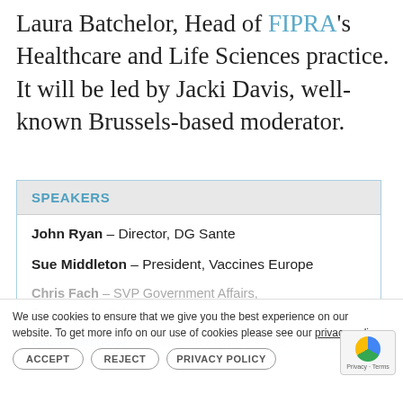Laura Batchelor, Head of FIPRA's Healthcare and Life Sciences practice. It will be led by Jacki Davis, well-known Brussels-based moderator.
SPEAKERS
John Ryan – Director, DG Sante
Sue Middleton – President, Vaccines Europe
Chris Fach, SVP Government Affairs, Emergent BioSolutions
Laura Batchelor – Healthcare Practice Head,
We use cookies to ensure that we give you the best experience on our website. To get more info on our use of cookies please see our privacy policy.